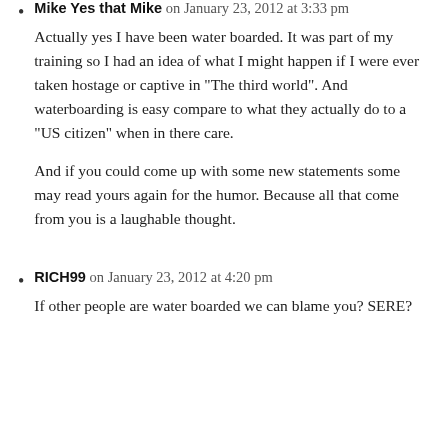Mike Yes that Mike on January 23, 2012 at 3:33 pm
Actually yes I have been water boarded. It was part of my training so I had an idea of what I might happen if I were ever taken hostage or captive in “The third world”. And waterboarding is easy compare to what they actually do to a “US citizen” when in there care.
And if you could come up with some new statements some may read yours again for the humor. Because all that come from you is a laughable thought.
RICH99 on January 23, 2012 at 4:20 pm
If other people are water boarded we can blame you? SERE?